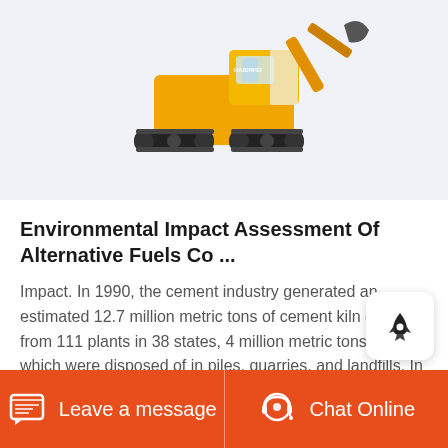[Figure (photo): Yellow toy excavator/bulldozer with black tracks on a light blue-gray background]
Environmental Impact Assessment Of Alternative Fuels Co ...
Impact. In 1990, the cement industry generated an estimated 12.7 million metric tons of cement kiln dust from 111 plants in 38 states, 4 million metric tons of which were disposed of in piles, quarries, and landfills. In 1995, the industry disposed of an estimated 3.3 million metric tons of cement kiln dust.
Leave a message  Chat Online